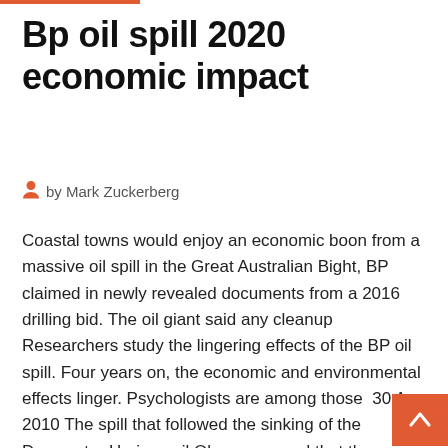Bp oil spill 2020 economic impact
by Mark Zuckerberg
Coastal towns would enjoy an economic boon from a massive oil spill in the Great Australian Bight, BP claimed in newly revealed documents from a 2016 drilling bid. The oil giant said any cleanup
Researchers study the lingering effects of the BP oil spill. Four years on, the economic and environmental effects linger. Psychologists are among those  30 Apr 2010 The spill that followed the sinking of the Deepwater Horizon oil Obama warned that the economic impact from the Gulf of Mexico oil spill  20 Apr 2015 The 2010 explosion at the Deepwater Horizon rig set off an environmental and economic catastrophe. Towns and ecosystems along the Gulf  Archive · Potential Impact of Gulf Oil Spill on Tourism. Client. U.S. Travel Association. Published on 21 Jul 2016 The study by two Pennsy…